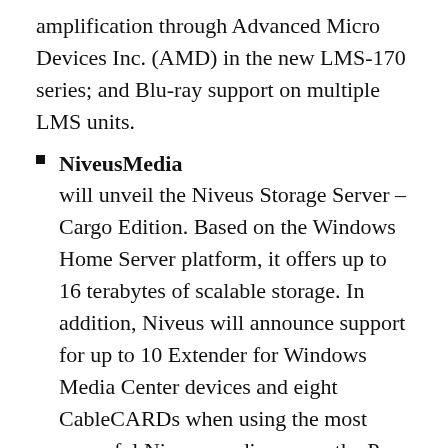amplification through Advanced Micro Devices Inc. (AMD) in the new LMS-170 series; and Blu-ray support on multiple LMS units.
NiveusMedia will unveil the Niveus Storage Server – Cargo Edition. Based on the Windows Home Server platform, it offers up to 16 terabytes of scalable storage. In addition, Niveus will announce support for up to 10 Extender for Windows Media Center devices and eight CableCARDs when using the most powerful Niveus media server, the Pro Series n9. Niveus will also introduce upgrades to both the Niveus media server line and the Niveus Movie Library movie management tool.
S1Digital